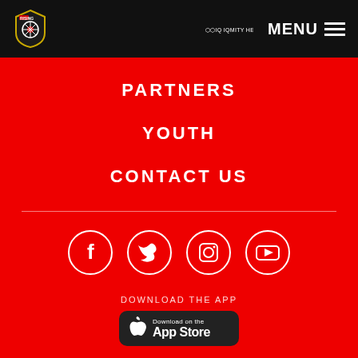Rising FC — MENU
PARTNERS
YOUTH
CONTACT US
[Figure (infographic): Social media icons: Facebook, Twitter, Instagram, YouTube in white circles on red background]
DOWNLOAD THE APP
[Figure (infographic): Apple App Store download button on dark background]